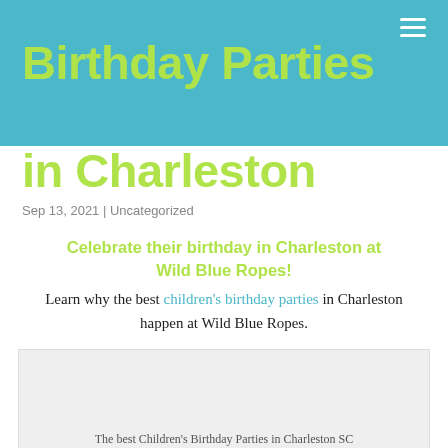Birthday Parties in Charleston
Sep 13, 2021 | Uncategorized
Celebrate their birthday in Charleston at Wild Blue Ropes!
Learn why the best children's birthday parties in Charleston happen at Wild Blue Ropes.
[Figure (photo): Gray placeholder image box with caption 'The best Children's Birthday Parties in Charleston SC']
The best Children's Birthday Parties in Charleston SC